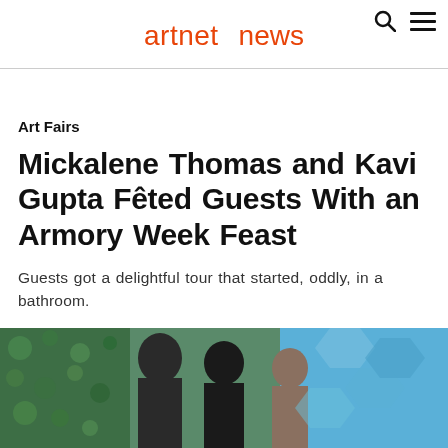artnet news
Art Fairs
Mickalene Thomas and Kavi Gupta Fêted Guests With an Armory Week Feast
Guests got a delightful tour that started, oddly, in a bathroom.
Brian Boucher, March 4, 2015
[Figure (photo): Photo of people at an event, colorful patterned fabric visible in background]